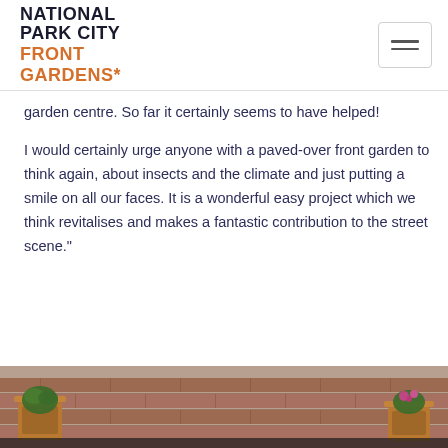NATIONAL PARK CITY FRONT GARDENS*
garden centre. So far it certainly seems to have helped!
I would certainly urge anyone with a paved-over front garden to think again, about insects and the climate and just putting a smile on all our faces. It is a wonderful easy project which we think revitalises and makes a fantastic contribution to the street scene."
[Figure (photo): Bottom strip of a photo showing terracotta garden pots on a brick wall ledge]